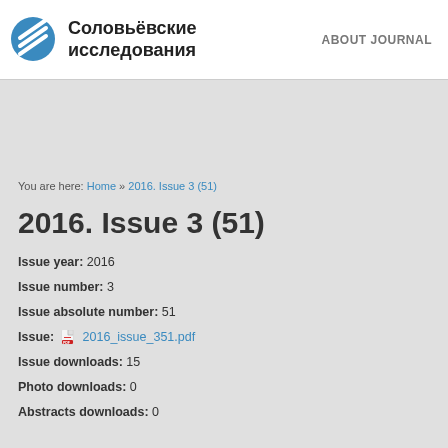Соловьёвские исследования   ABOUT JOURNAL
You are here: Home » 2016. Issue 3 (51)
2016. Issue 3 (51)
Issue year: 2016
Issue number: 3
Issue absolute number: 51
Issue: 2016_issue_351.pdf
Issue downloads: 15
Photo downloads: 0
Abstracts downloads: 0